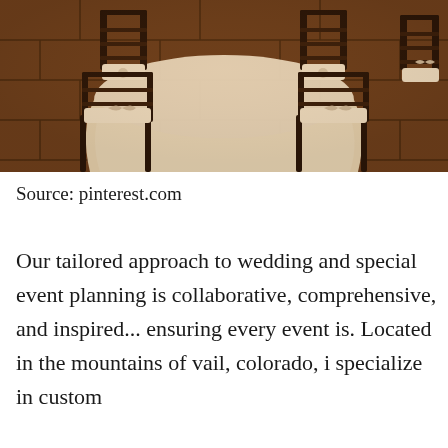[Figure (photo): Indoor event venue photo showing a round table covered with a cream/white tablecloth draped to the floor, surrounded by dark wood chiavari chairs with cream cushions tied with bows, on a stone tile floor.]
Source: pinterest.com
Our tailored approach to wedding and special event planning is collaborative, comprehensive, and inspired... ensuring every event is. Located in the mountains of vail, colorado, i specialize in custom